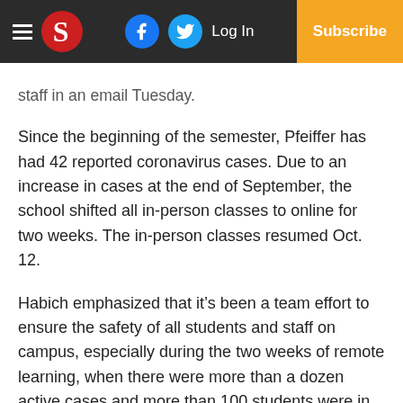≡ S [logo] [facebook] [twitter] Log In | Subscribe
staff in an email Tuesday.
Since the beginning of the semester, Pfeiffer has had 42 reported coronavirus cases. Due to an increase in cases at the end of September, the school shifted all in-person classes to online for two weeks. The in-person classes resumed Oct. 12.
Habich emphasized that it's been a team effort to ensure the safety of all students and staff on campus, especially during the two weeks of remote learning, when there were more than a dozen active cases and more than 100 students were in